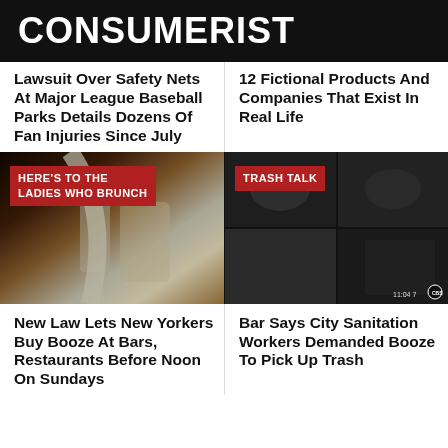CONSUMERIST
Lawsuit Over Safety Nets At Major League Baseball Parks Details Dozens Of Fan Injuries Since July
12 Fictional Products And Companies That Exist In Real Life
[Figure (photo): Photo of drinks being poured into a glass at brunch, with overlay badge reading HERE'S TO THE LADIES WHO BRUNCH]
[Figure (photo): Security camera quad-view footage in black and white, with overlay badge reading TRASH TALK]
New Law Lets New Yorkers Buy Booze At Bars, Restaurants Before Noon On Sundays
Bar Says City Sanitation Workers Demanded Booze To Pick Up Trash